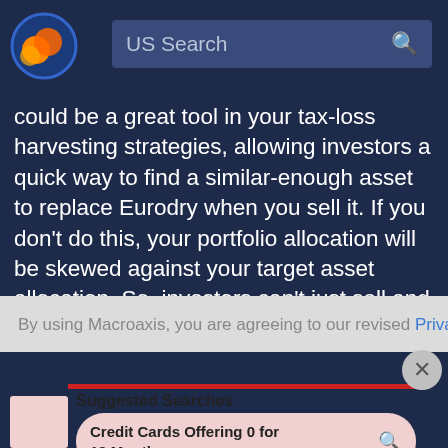[Figure (logo): Macroaxis logo: circular globe icon with orange and blue colors]
US Search
could be a great tool in your tax-loss harvesting strategies, allowing investors a quick way to find a similar-enough asset to replace Eurodry when you sell it. If you don't do this, your portfolio allocation will be skewed against your target asset allocation. So, investors can't just sell and buy back Eurodry - that
By using Macroaxis, you are agreeing to our revised Privacy Policy
Suggested Searches
Credit Cards Offering 0 for 18 Months